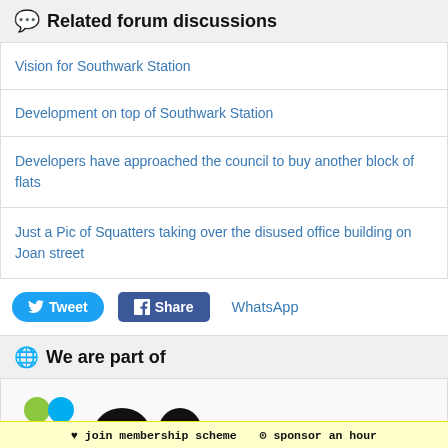Related forum discussions
Vision for Southwark Station
Development on top of Southwark Station
Developers have approached the council to buy another block of flats
Just a Pic of Squatters taking over the disused office building on Joan street
Tweet  Share  WhatsApp
We are part of
[Figure (logo): Colorful dots logo and partial number/text logos at bottom of page]
♥ join membership scheme  ⊙ sponsor an hour